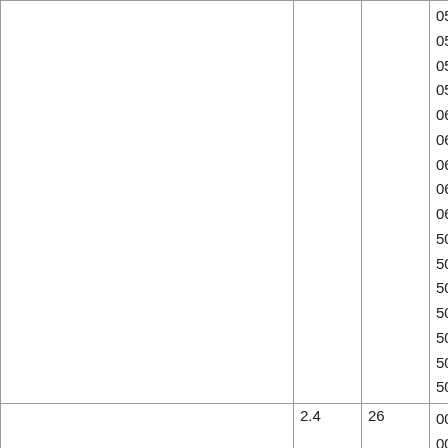|  |  |  | 054 05
058.M
058.M
059 06
062 06
064
065.M
065.M
066 06
501.XR
502.XR
503.XR
504.XR
505.XR
506.XR
507.XR |
|  | 2.4 | 26 | 002 00
006 00
010 01 |